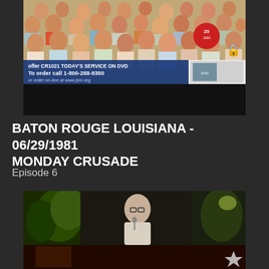[Figure (screenshot): Video thumbnail showing a crowd of people at a religious crusade event with a lower-third banner overlay reading: offer CR1021 TODAY'S SERVICE ON DVD / To order call 1-800-288-8350 / or order on-line at www.jsm.org. A lock icon is visible on the right side.]
BATON ROUGE LOUISIANA - 06/29/1981 MONDAY CRUSADE
Episode 6
[Figure (screenshot): Video thumbnail showing a man in a light-colored suit speaking into a microphone on a dimly lit stage, with greenery visible in the background. Below is a darker scene with a star visible.]